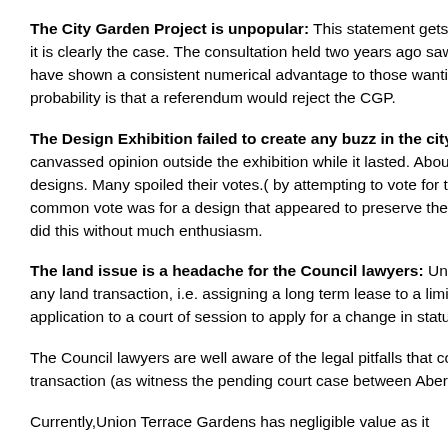The City Garden Project is unpopular: This statement gets vigorously denied, yet it is clearly the case. The consultation held two years ago saw a … polls have shown a consistent numerical advantage to those wanting … probability is that a referendum would reject the CGP.
The Design Exhibition failed to create any buzz in the city: The R… canvassed opinion outside the exhibition while it lasted. About half of … the designs. Many spoiled their votes.( by attempting to vote for the r… a common vote was for a design that appeared to preserve the Gard… they did this without much enthusiasm.
The land issue is a headache for the Council lawyers: Union Terr… and any land transaction, i.e. assigning a long term lease to a limited… an application to a court of session to apply for a change in status of…
The Council lawyers are well aware of the legal pitfalls that could ens… transaction (as witness the pending court case between Aberdeen C…
Currently,Union Terrace Gardens has negligible value as it is…